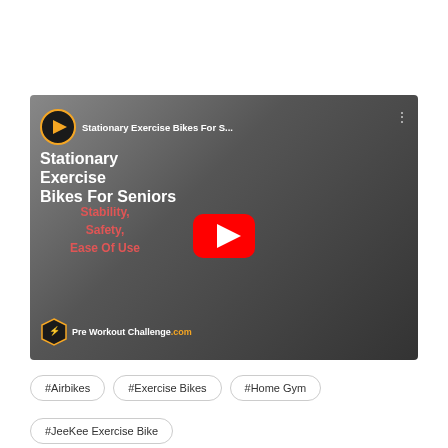[Figure (screenshot): YouTube video thumbnail for 'Stationary Exercise Bikes For Seniors' by Pre Workout Challenge. Shows a recumbent exercise bike on a dark gradient background with text 'Stability, Safety, Ease Of Use' in red. A red YouTube play button is centered on the thumbnail.]
#Airbikes
#Exercise Bikes
#Home Gym
#JeeKee Exercise Bike